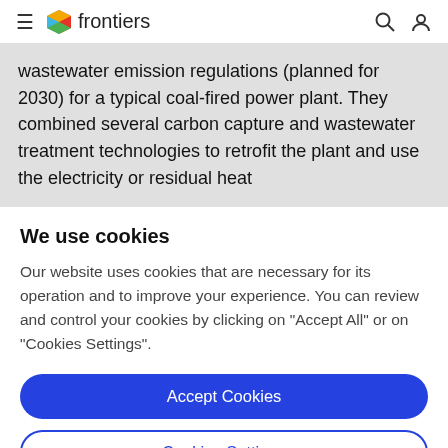frontiers
wastewater emission regulations (planned for 2030) for a typical coal-fired power plant. They combined several carbon capture and wastewater treatment technologies to retrofit the plant and use the electricity or residual heat
We use cookies
Our website uses cookies that are necessary for its operation and to improve your experience. You can review and control your cookies by clicking on "Accept All" or on "Cookies Settings".
Accept Cookies
Cookies Settings